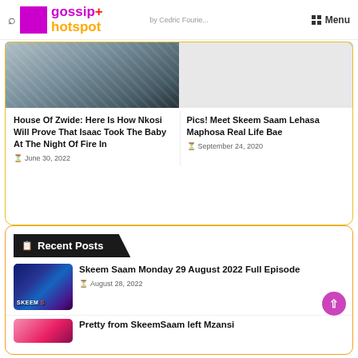gossip+ hotspot | Menu
House Of Zwide: Here Is How Nkosi Will Prove That Isaac Took The Baby At The Night Of Fire In
June 30, 2022
Pics! Meet Skeem Saam Lehasa Maphosa Real Life Bae
September 24, 2020
Recent Posts
Skeem Saam Monday 29 August 2022 Full Episode
August 28, 2022
Pretty from SkeemSaam left Mzansi